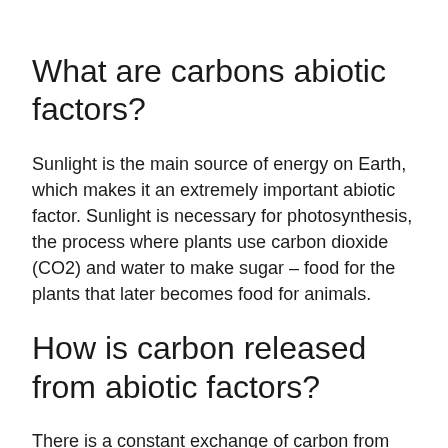What are carbons abiotic factors?
Sunlight is the main source of energy on Earth, which makes it an extremely important abiotic factor. Sunlight is necessary for photosynthesis, the process where plants use carbon dioxide (CO2) and water to make sugar – food for the plants that later becomes food for animals.
How is carbon released from abiotic factors?
There is a constant exchange of carbon from